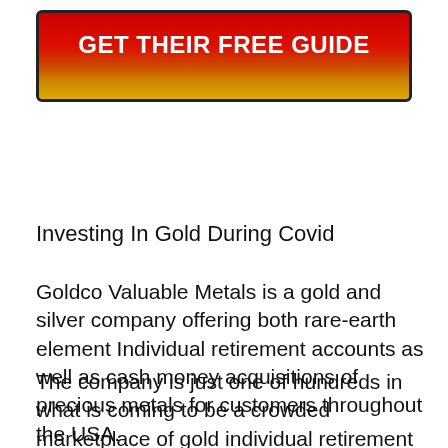[Figure (other): Red to orange/gold gradient button with bold white text reading GET THEIR FREE GUIDE, black border and rounded corners]
Investing In Gold During Covid
Goldco Valuable Metals is a gold and silver company offering both rare-earth element Individual retirement accounts as well as cash money acquisitions of precious metals for customers throughout the USA.
The company is just one of hundreds in what is coming to be a crowded marketplace of gold individual retirement account suppliers – with Americans significantly worried